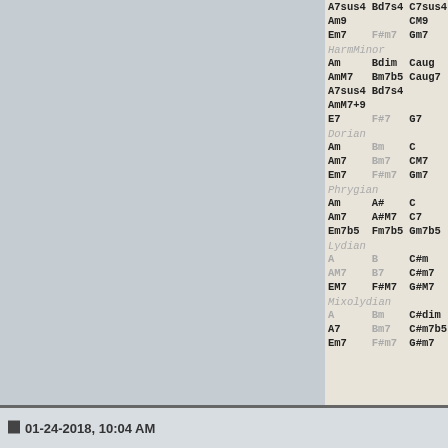| Mode | Chord1 | Chord2 | Chord3 | Chord4 |
| --- | --- | --- | --- | --- |
|  | A7sus4 | Bd7s4 | C7sus4 | D7su |
|  | Am9 |  | CM9 | Dm9 |
|  | Em7 | F#m7 | Gm7 | Am7 |
| HarmMinor | Am | Bdim | Caug | Dm |
|  | AmM7 | Bm7b5 | Caug7 | Dm7 |
|  | A7sus4 | Bd7s4 |  | D7su |
|  | AmM7+9 |  |  | Dm9 |
|  | E7 | F#7 | G7 | A7 |
| Dorian | Am | Bm | C | D |
|  | Am7 | Bm7 | CM7 | D7 |
|  | Em7 | F#m7 | Gm7 | Am7 |
| Phrygian | Am | A# | C | Dm |
|  | Am7 | A#M7 | C7 | Dm7 |
|  | Em7b5 | Fm7b5 | Gm7b5 | Am7b |
| Lydian | A | B | C#m | D#di |
|  | AM7 | B7 | C#m7 | D#m7 |
|  | EM7 | F#M7 | G#M7 | A#M7 |
| Mixolydian | A | Bm | C#dim | D |
|  | A7 | Bm7 | C#m7b5 | DM7 |
|  | Em7 | F#m7 | G#m7 | Am7 |
Last edited by sai'ke; 05-09-2020 at 09:24 AM. Reason: Added
01-24-2018, 10:04 AM